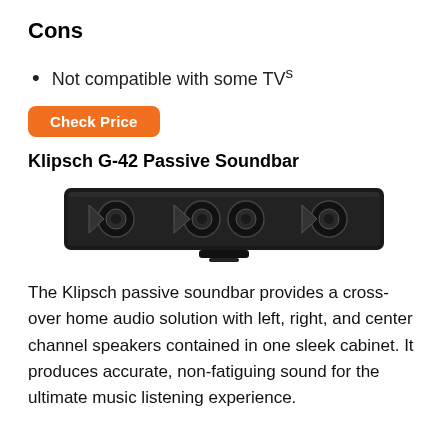Cons
Not compatible with some TVs
Check Price
Klipsch G-42 Passive Soundbar
[Figure (photo): Photo of the Klipsch G-42 Passive Soundbar, a sleek black horizontal soundbar with multiple speaker drivers visible.]
The Klipsch passive soundbar provides a cross-over home audio solution with left, right, and center channel speakers contained in one sleek cabinet. It produces accurate, non-fatiguing sound for the ultimate music listening experience.